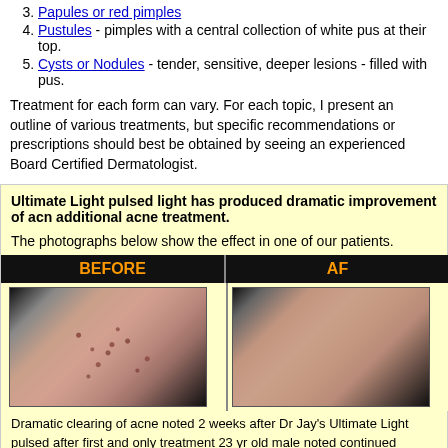3. Papules or red pimples
4. Pustules - pimples with a central collection of white pus at their top.
5. Cysts or Nodules - tender, sensitive, deeper lesions - filled with pus.
Treatment for each form can vary. For each topic, I present an outline of various treatments, but specific recommendations or prescriptions should best be obtained by seeing an experienced Board Certified Dermatologist.
Ultimate Light pulsed light has produced dramatic improvement of acne without additional acne treatment.
The photographs below show the effect in one of our patients.
[Figure (photo): Before and after photos showing acne treatment results with Ultimate Light pulsed light. Left panel labeled BEFORE shows skin with multiple acne spots/lesions. Right panel labeled AFTER shows cleared skin.]
Dramatic clearing of acne noted 2 weeks after Dr Jay's Ultimate Light pulsed after first and only treatment 23 yr old male noted continued clearing of acne density and coarseness of hairs. No other treatment was needed to improve